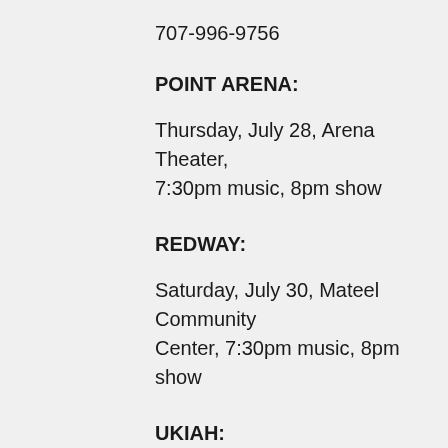707-996-9756
POINT ARENA:
Thursday, July 28, Arena Theater, 7:30pm music, 8pm show
REDWAY:
Saturday, July 30, Mateel Community Center, 7:30pm music, 8pm show
UKIAH:
Friday, September 23, Todd Grove Park, 6:30pm music, 7pm show
PETALUMA: